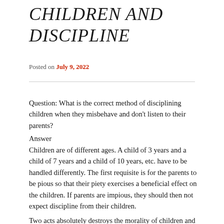CHILDREN AND DISCIPLINE
Posted on July 9, 2022
Question: What is the correct method of disciplining children when they misbehave and don't listen to their parents?
Answer
Children are of different ages. A child of 3 years and a child of 7 years and a child of 10 years, etc. have to be handled differently. The first requisite is for the parents to be pious so that their piety exercises a beneficial effect on the children. If parents are impious, they should then not expect discipline from their children.
Two acts absolutely destroys the morality of children and...